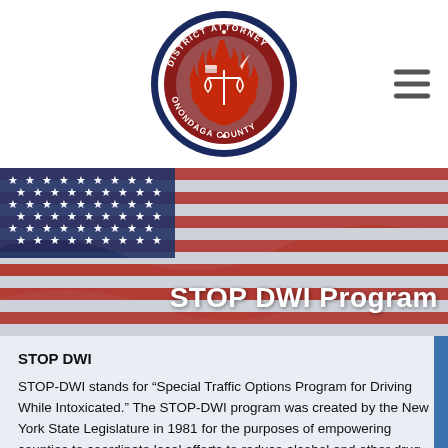[Figure (logo): Onondaga County District Attorney circular seal/logo with navy border, red center, and scales of justice imagery]
[Figure (photo): American flag banner image with red, white, and blue stripes and stars, used as hero banner background]
STOP DWI Program
STOP DWI
STOP-DWI stands for “Special Traffic Options Program for Driving While Intoxicated.” The STOP-DWI program was created by the New York State Legislature in 1981 for the purposes of empowering counties to coordinate local efforts to reduce alcohol and other drug related traffic crashes within the context of a comprehensive and financially self-sustaining alcohol and highway safety program.